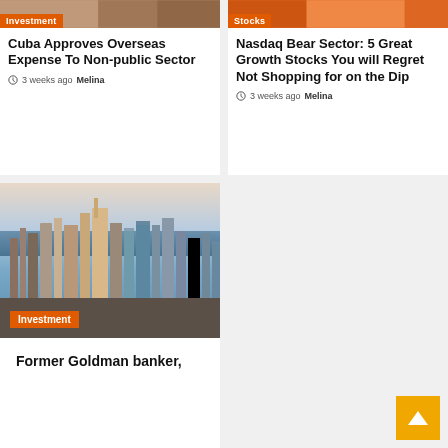[Figure (photo): Partial photo with Investment badge at top left]
Cuba Approves Overseas Expense To Non-public Sector
3 weeks ago  Melina
[Figure (photo): Partial photo with Stocks badge at top right]
Nasdaq Bear Sector: 5 Great Growth Stocks You will Regret Not Shopping for on the Dip
3 weeks ago  Melina
[Figure (photo): City skyline aerial photo with Investment badge]
Former Goldman banker,